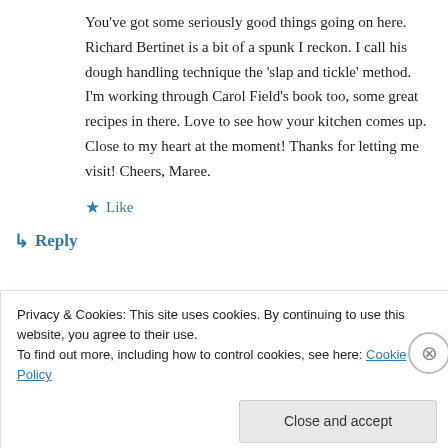You've got some seriously good things going on here. Richard Bertinet is a bit of a spunk I reckon. I call his dough handling technique the 'slap and tickle' method. I'm working through Carol Field's book too, some great recipes in there. Love to see how your kitchen comes up. Close to my heart at the moment! Thanks for letting me visit! Cheers, Maree.
★ Like
↳ Reply
Privacy & Cookies: This site uses cookies. By continuing to use this website, you agree to their use.
To find out more, including how to control cookies, see here: Cookie Policy
Close and accept